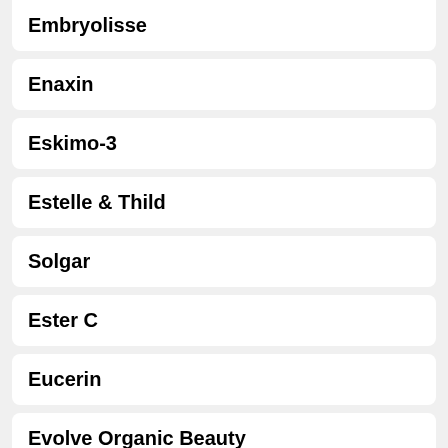Embryolisse
Enaxin
Eskimo-3
Estelle & Thild
Solgar
Ester C
Eucerin
Evolve Organic Beauty